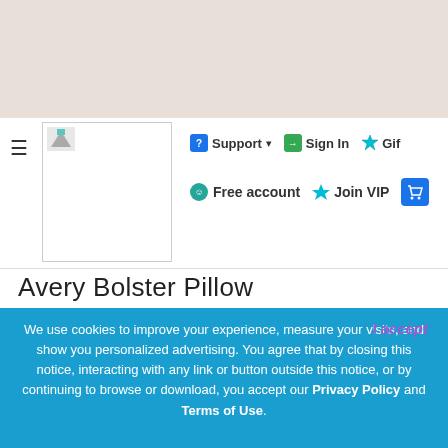[Figure (screenshot): Website navigation bar with Support, Sign In, Gift, Free account, Join VIP, and cart icons, plus a logo box and hamburger menu]
Avery Bolster Pillow
CREATED BY NynaeveDesign   Submitter
233,758 DOWNLOADS   0 COMMENTS
See more and download
We use cookies to improve your experience, measure your visits, and show you personalized advertising. You agree that by closing this notice, interacting with any link or button outside this notice, or by continuing to browse or download, you accept our Privacy Policy and Terms of Use.